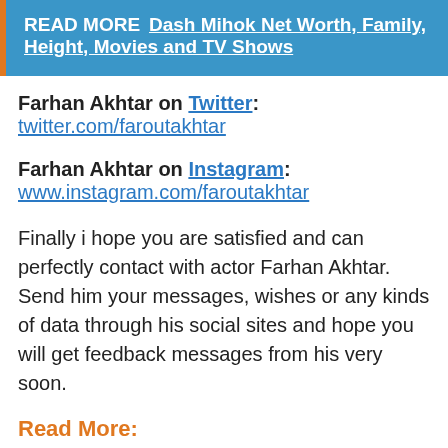READ MORE  Dash Mihok Net Worth, Family, Height, Movies and TV Shows
Farhan Akhtar on Twitter: twitter.com/faroutakhtar
Farhan Akhtar on Instagram: www.instagram.com/faroutakhtar
Finally i hope you are satisfied and can perfectly contact with actor Farhan Akhtar. Send him your messages, wishes or any kinds of data through his social sites and hope you will get feedback messages from his very soon.
Read More: